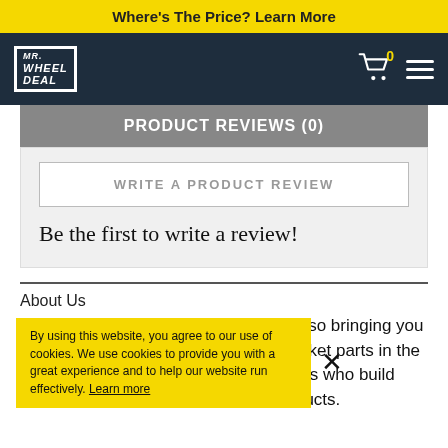Where's The Price? Learn More
[Figure (logo): Mr. Wheel Deal logo in white text on dark navy background with shopping cart icon showing 0 items and hamburger menu]
PRODUCT REVIEWS (0)
WRITE A PRODUCT REVIEW
Be the first to write a review!
About Us
he perfect fitment for your ride while also bringing you the highest quality, affordable aftermarket parts in the world! We are truck and car enthusiasts who build their dream rides with these very products.
By using this website, you agree to our use of cookies. We use cookies to provide you with a great experience and to help our website run effectively. Learn more